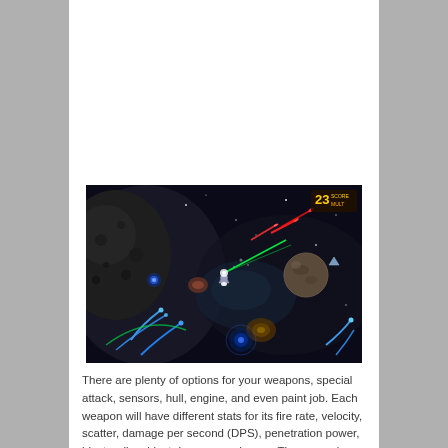[Figure (screenshot): A space shooter game screenshot showing spaceships firing colorful laser beams and projectiles in a dark space environment. Various glowing projectiles in blue, red, green, and white are visible. A score display showing '23' is visible in the upper right corner.]
There are plenty of options for your weapons, special attack, sensors, hull, engine, and even paint job. Each weapon will have different stats for its fire rate, velocity, scatter, damage per second (DPS), penetration power, blast radius, blast damage, and more. There are also